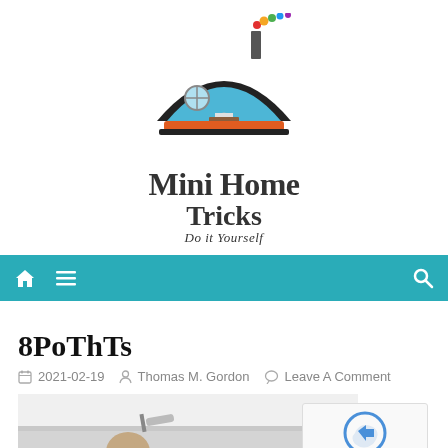[Figure (logo): Mini Home Tricks logo: a blue dome-shaped house with a chimney emitting colorful circles, on a black arch base with orange/red base strip]
Mini Home Tricks
Tricks
Do it Yourself
[Figure (other): Teal navigation bar with home icon, hamburger menu icon on the left, and search icon on the right]
8PoThTs
2021-02-19  Thomas M. Gordon  Leave A Comment
[Figure (photo): Person painting a ceiling white with a roller on an extension pole]